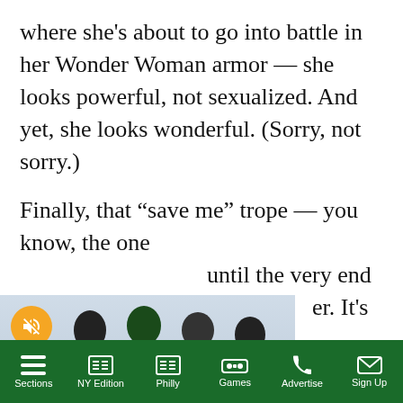where she's about to go into battle in her Wonder Woman armor — she looks powerful, not sexualized. And yet, she looks wonderful. (Sorry, not sorry.)
Finally, that “save me” trope — you know, the one ... until the very end ... er. It's not there. ... is the superhero. She's powerful, full ... ined. She is ... a kid. The fact that ... film to watch — there
[Figure (screenshot): Video overlay showing TXT Members YEONJUN, SOOBIN, HU... with a close button, mute button, and people in formal attire sitting on a couch. Caption reads: Which TXT member is the best at hyping up the group before a show?]
Sections  NY Edition  Philly  Games  Advertise  Sign Up